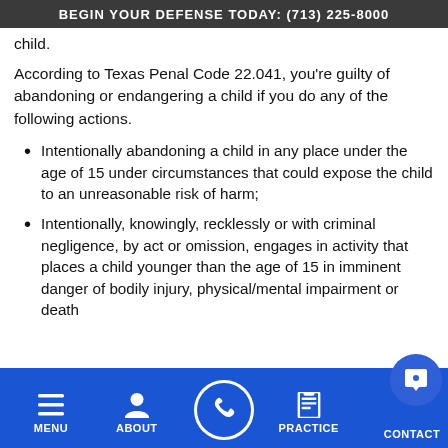BEGIN YOUR DEFENSE TODAY: (713) 225-8000
child.
According to Texas Penal Code 22.041, you're guilty of abandoning or endangering a child if you do any of the following actions.
Intentionally abandoning a child in any place under the age of 15 under circumstances that could expose the child to an unreasonable risk of harm;
Intentionally, knowingly, recklessly or with criminal negligence, by act or omission, engages in activity that places a child younger than the age of 15 in imminent danger of bodily injury, physical/mental impairment or death
MENU  ABOUT  PRACTICE  CONTACT